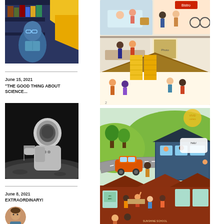[Figure (illustration): Illustrated image of a man with glasses in blue tones with yellow geometric shapes, appearing to be in a library or study setting]
June 15, 2021
"THE GOOD THING ABOUT SCIENCE...
[Figure (photo): Black and white photograph of an astronaut on the moon surface with an American flag in the background]
June 8, 2021
EXTRAORDINARY!
[Figure (illustration): Partial view of a person avatar/illustration at bottom left]
[Figure (illustration): Colorful illustrated scene of a multi-story building with children and people in various rooms, including a Bistro shop, showing a neighborhood scene]
[Figure (illustration): Colorful illustrated scene of a neighborhood with houses, a school, roads, trees, hills, and children playing]